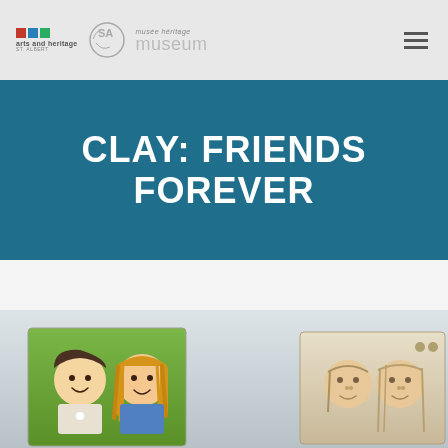[Figure (logo): Arts and Heritage St. Albert logo with colored squares, CSA logo, and Musée Héritage Museum wordmark]
CLAY: FRIENDS FOREVER
[Figure (photo): Clay artwork tiles showing children's faces with colorful hair, handmade ceramic pieces displayed against a light background]